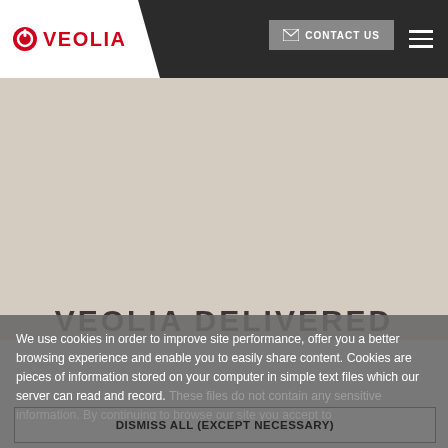[Figure (logo): Veolia company logo with red circle icon and red VEOLIA text on white background in top navigation bar]
CONTACT US
[Figure (photo): Large hero image area with beige/tan background, partially obscured by cookie consent overlay]
VEOLIA DELIVERED
We use cookies in order to improve site performance, offer you a better browsing experience and enable you to easily share content. Cookies are pieces of information stored on your computer in simple text files which our server can read and record. These files do not contain any sensitive information. By continuing to browse our site you accept to...
DISMISS ALL (EXCEPT NECESSARY)